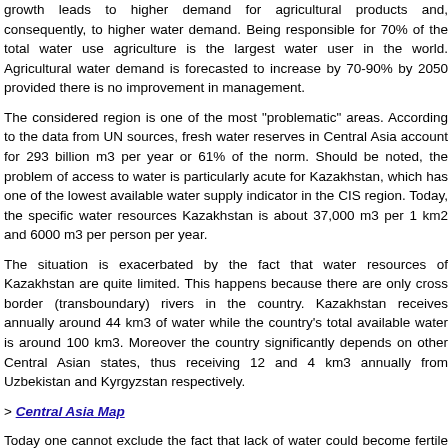growth leads to higher demand for agricultural products and, consequently, to higher water demand. Being responsible for 70% of the total water use agriculture is the largest water user in the world. Agricultural water demand is forecasted to increase by 70-90% by 2050 provided there is no improvement in management.
The considered region is one of the most "problematic" areas. According to the data from UN sources, fresh water reserves in Central Asia account for 293 billion m3 per year or 61% of the norm. Should be noted, the problem of access to water is particularly acute for Kazakhstan, which has one of the lowest available water supply indicator in the CIS region. Today, the specific water resources Kazakhstan is about 37,000 m3 per 1 km2 and 6000 m3 per person per year.
The situation is exacerbated by the fact that water resources of Kazakhstan are quite limited. This happens because there are only cross border (transboundary) rivers in the country. Kazakhstan receives annually around 44 km3 of water while the country's total available water is around 100 km3. Moreover the country significantly depends on other Central Asian states, thus receiving 12 and 4 km3 annually from Uzbekistan and Kyrgyzstan respectively.
> Central Asia Map
Today one cannot exclude the fact that lack of water could become fertile ground for a large-scale regional conflict in relations between not only the above-mentioned countries but all countries of the region in foreseeable future. Meanwhile the nature of the conflict will not be connected with the number of people inhabiting this region and the difference in economic development of these countries per se, but rather in the severity of access to water problem per se. For example Kyrgyzstan and Tajikistan have put forward a claim to increase financial compensation for implementation